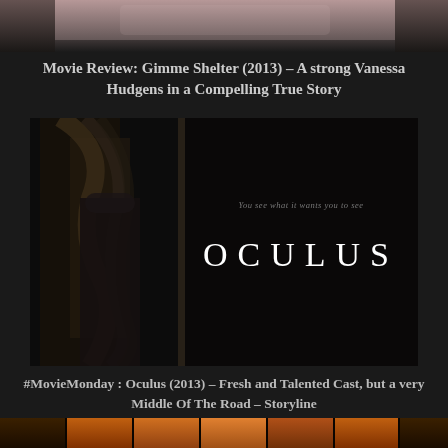[Figure (photo): Top partial photo showing a person, cropped at top of page]
Movie Review: Gimme Shelter (2013) – A strong Vanessa Hudgens in a Compelling True Story
[Figure (photo): Oculus (2013) movie poster showing a woman with long hair at a dark doorway on the left half, and on the right half the tagline 'You see what it wants you to see' above the title 'OCULUS' in large spaced serif letters on a black background]
#MovieMonday : Oculus (2013) – Fresh and Talented Cast, but a very Middle Of The Road – Storyline
[Figure (photo): Bottom strip photo showing warm orange/golden tones, partially visible at bottom of page]